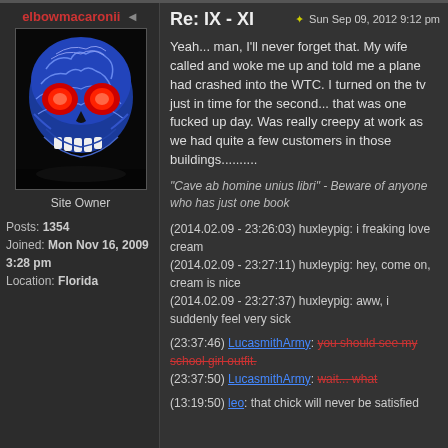elbowmacaronii
[Figure (photo): Blue decorative skull with red glowing eyes and white tribal patterns on black background]
Site Owner
Posts: 1354
Joined: Mon Nov 16, 2009 3:28 pm
Location: Florida
Re: IX - XI
Sun Sep 09, 2012 9:12 pm
Yeah... man, I'll never forget that. My wife called and woke me up and told me a plane had crashed into the WTC. I turned on the tv just in time for the second... that was one fucked up day. Was really creepy at work as we had quite a few customers in those buildings..........
"Cave ab homine unius libri" - Beware of anyone who has just one book
(2014.02.09 - 23:26:03) huxleypig: i freaking love cream
(2014.02.09 - 23:27:11) huxleypig: hey, come on, cream is nice
(2014.02.09 - 23:27:37) huxleypig: aww, i suddenly feel very sick
(23:37:46) LucasmithArmy: you should see my school girl outfit.
(23:37:50) LucasmithArmy: wait... what
(13:19:50) leo: that chick will never be satisfied